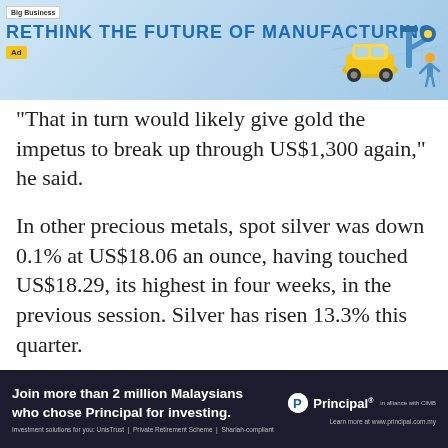RETHINK THE FUTURE OF MANUFACTURING
That in turn would likely give gold the impetus to break up through US$1,300 again," he said.
In other precious metals, spot silver was down 0.1% at US$18.06 an ounce, having touched US$18.29, its highest in four weeks, in the previous session. Silver has risen 13.3% this quarter.
Platinum was 0.2% higher at US$944.80 an ounce and is up 4.6% this year.
Palladium was up 0.4% at US$797 an
Join more than 2 million Malaysians who chose Principal for investing. Investment solutions for you: UnisTrust | Private Retirement Scheme | Shariah-compliant. Learn more at www.principal.com.my